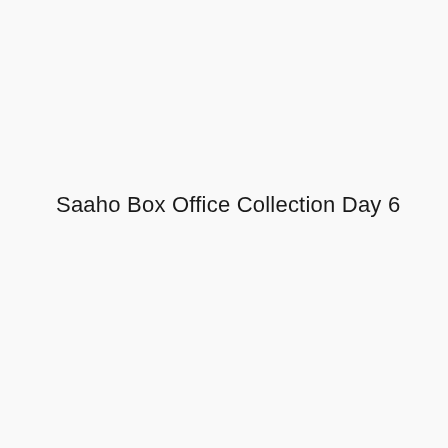Saaho Box Office Collection Day 6